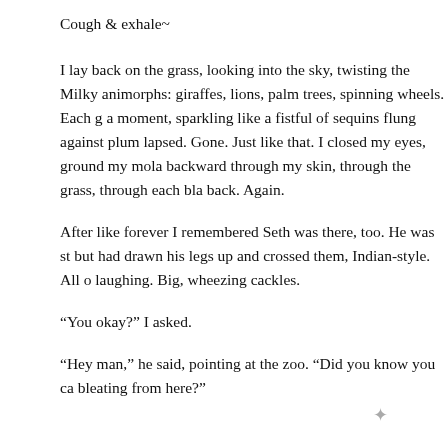Cough & exhale~
I lay back on the grass, looking into the sky, twisting the Milky animorphs: giraffes, lions, palm trees, spinning wheels. Each g a moment, sparkling like a fistful of sequins flung against plum lapsed. Gone. Just like that. I closed my eyes, ground my mola backward through my skin, through the grass, through each bla back. Again.
After like forever I remembered Seth was there, too. He was st but had drawn his legs up and crossed them, Indian-style. All o laughing. Big, wheezing cackles.
“You okay?” I asked.
“Hey man,” he said, pointing at the zoo. “Did you know you ca bleating from here?”